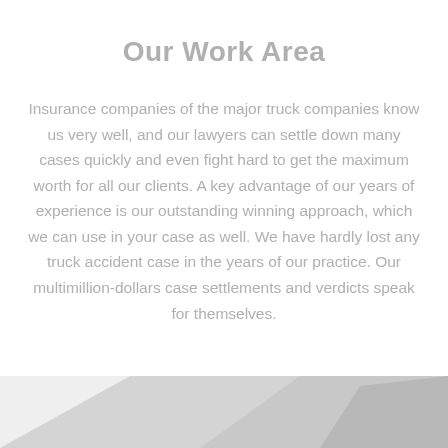Our Work Area
Insurance companies of the major truck companies know us very well, and our lawyers can settle down many cases quickly and even fight hard to get the maximum worth for all our clients. A key advantage of our years of experience is our outstanding winning approach, which we can use in your case as well. We have hardly lost any truck accident case in the years of our practice. Our multimillion-dollars case settlements and verdicts speak for themselves.
[Figure (photo): Partial view of a light gray and white image strip at the bottom of the page, suggesting a photo of a vehicle or truck partially visible]